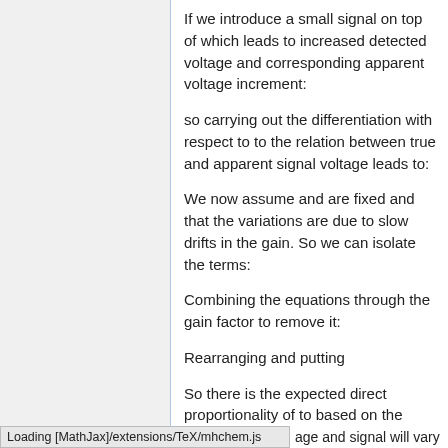If we introduce a small signal on top of which leads to increased detected voltage and corresponding apparent voltage increment:
so carrying out the differentiation with respect to to the relation between true and apparent signal voltage leads to:
We now assume and are fixed and that the variations are due to slow drifts in the gain. So we can isolate the terms:
Combining the equations through the gain factor to remove it:
Rearranging and putting
So there is the expected direct proportionality of to based on the assumption that the variations in voltage are due to overall gain drift, so the
Loading [MathJax]/extensions/TeX/mhchem.js
age and signal will vary